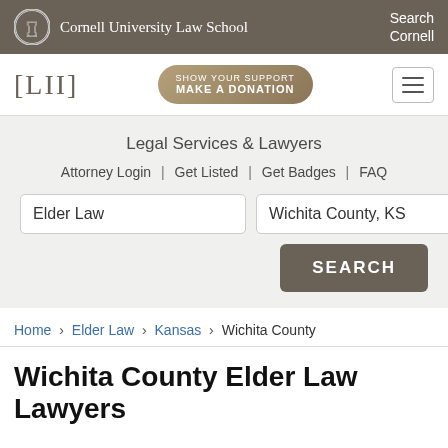Cornell University Law School | Search Cornell
[Figure (logo): LII Legal Information Institute logo with [LII] bracket text and 'SHOW YOUR SUPPORT MAKE A DONATION' button]
Legal Services & Lawyers
Attorney Login | Get Listed | Get Badges | FAQ
Search fields: Elder Law | Wichita County, KS | SEARCH button
Home › Elder Law › Kansas › Wichita County
Wichita County Elder Law Lawyers